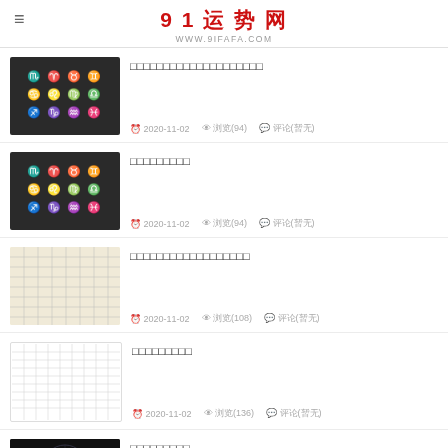91运势网 WWW.9IFAFA.COM
□□□□□□□□□□□□□□□□□□□□ 2020-11-02 浏览(94) 评论(暂无)
□□□□□□□□□ 2020-11-02 浏览(94) 评论(暂无)
□□□□□□□□□□□□□□□□□□ 2020-11-02 浏览(108) 评论(暂无)
□□□□□□□□□ 2020-11-02 浏览(136) 评论(暂无)
□□□□□□□□□